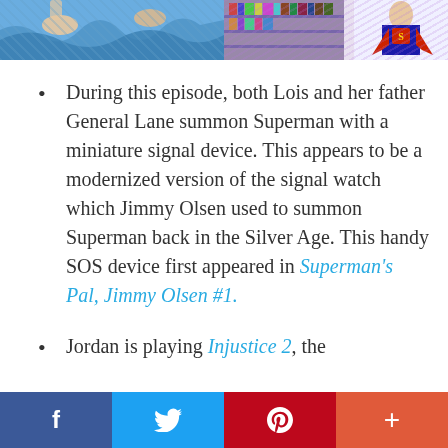[Figure (photo): Two comic book panel images side by side at the top of the page]
During this episode, both Lois and her father General Lane summon Superman with a miniature signal device. This appears to be a modernized version of the signal watch which Jimmy Olsen used to summon Superman back in the Silver Age. This handy SOS device first appeared in Superman's Pal, Jimmy Olsen #1.
Jordan is playing Injustice 2, the
f  [twitter bird]  p  +